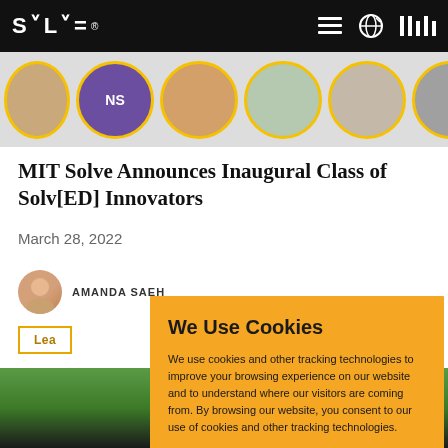SOLVE (MIT Solve logo) — navigation bar with menu icon, globe icon, MIT logo
[Figure (photo): Strip of circular avatar photos of people, with yellow borders, on a light grey background]
MIT Solve Announces Inaugural Class of Solv[ED] Innovators
March 28, 2022
AMANDA SAEH
Learn
[Figure (photo): Outdoor scene, green foliage, people in lower portion]
We Use Cookies
We use cookies and other tracking technologies to improve your browsing experience on our website and to understand where our visitors are coming from. By browsing our website, you consent to our use of cookies and other tracking technologies.
ACCEPT
REJECT